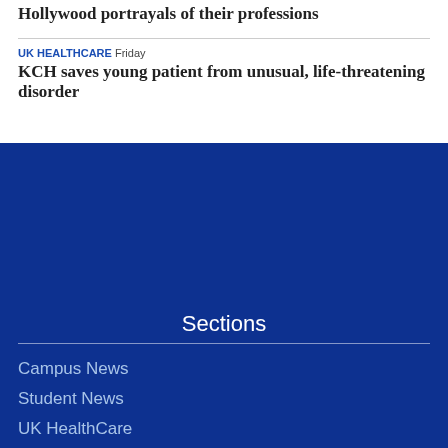Hollywood portrayals of their professions
UK HEALTHCARE  Friday
KCH saves young patient from unusual, life-threatening disorder
Sections
Campus News
Student News
UK HealthCare
Research
UK Happenings